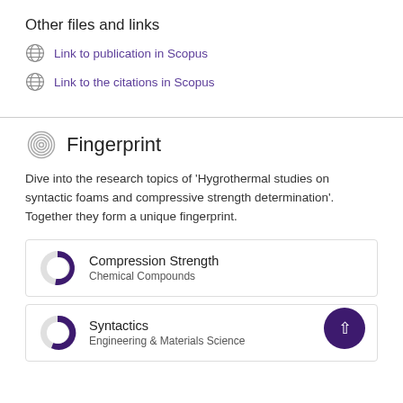Other files and links
Link to publication in Scopus
Link to the citations in Scopus
Fingerprint
Dive into the research topics of 'Hygrothermal studies on syntactic foams and compressive strength determination'. Together they form a unique fingerprint.
Compression Strength
Chemical Compounds
Syntactics
Engineering & Materials Science